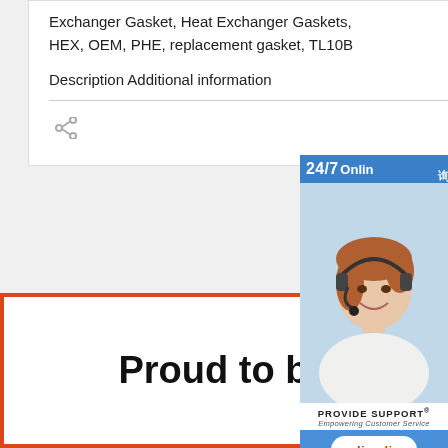Exchanger Gasket, Heat Exchanger Gaskets, HEX, OEM, PHE, replacement gasket, TL10B
Description Additional information
[Figure (infographic): 24/7 Online customer support chat widget with photo of woman wearing headset, Provide Support branding, and 'online live' button. Chinese text '在线咨询' on sidebar.]
Proud to be